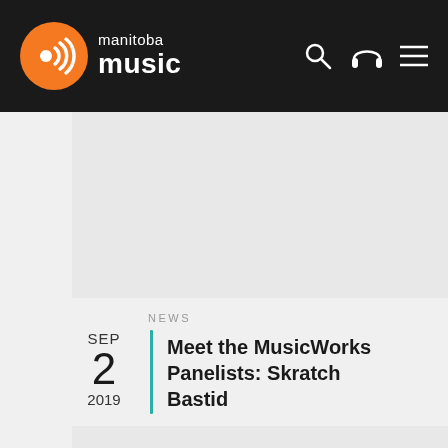manitoba music
[Figure (photo): Gray placeholder image block at top of article]
NEWS
Meet the MusicWorks Panelists: Skratch Bastid
SEP 2 2019
[Figure (photo): Gray placeholder image block at bottom of page]